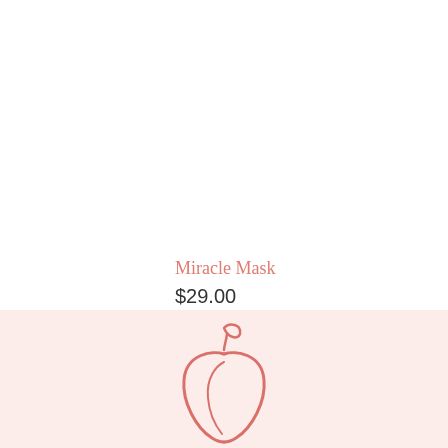Miracle Mask
$29.00
[Figure (logo): Peach/apple fruit outline icon in salmon/rose color on a light pink background strip at the bottom of the page]